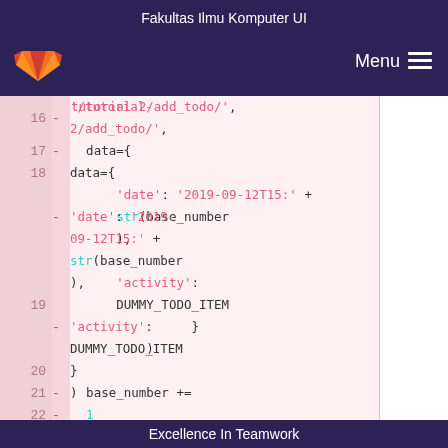Fakultas Ilmu Komputer UI
[Figure (logo): GitLab fox logo in orange/red on dark purple navigation bar with Menu hamburger button]
'/tutorial-2/add_todo/',
17 -
data={
18 -
'date': '2019-09-12T15:' + str(base_number),
19 -
'activity': DUMMY_TODO_ITEM
20 -                 }
21 -         )
22 -
base_number += 1
23 -
Excellence In Teamwork